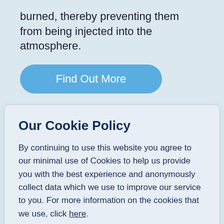burned, thereby preventing them from being injected into the atmosphere.
Find Out More
Our Cookie Policy
By continuing to use this website you agree to our minimal use of Cookies to help us provide you with the best experience and anonymously collect data which we use to improve our service to you. For more information on the cookies that we use, click here.
I understand